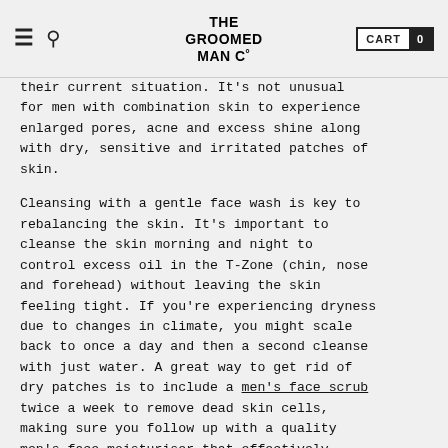THE GROOMED MAN CO  CART 0
their current situation. It's not unusual for men with combination skin to experience enlarged pores, acne and excess shine along with dry, sensitive and irritated patches of skin.
Cleansing with a gentle face wash is key to rebalancing the skin. It's important to cleanse the skin morning and night to control excess oil in the T-Zone (chin, nose and forehead) without leaving the skin feeling tight. If you're experiencing dryness due to changes in climate, you might scale back to once a day and then a second cleanse with just water. A great way to get rid of dry patches is to include a men's face scrub twice a week to remove dead skin cells, making sure you follow up with a quality men's face moisturiser that effectively hydrates the skin and is rich in anti-